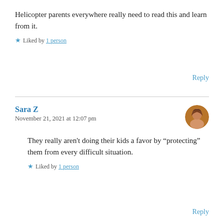Helicopter parents everywhere really need to read this and learn from it.
Liked by 1 person
Reply
Sara Z
November 21, 2021 at 12:07 pm
They really aren't doing their kids a favor by "protecting" them from every difficult situation.
Liked by 1 person
Reply